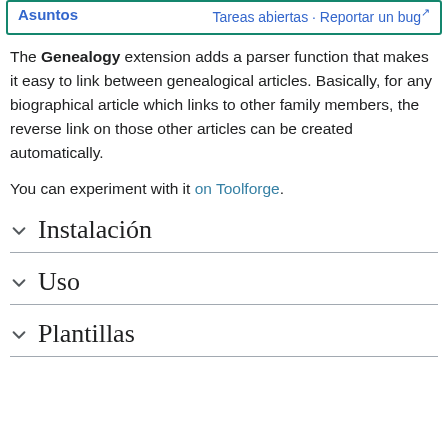| Asuntos | Tareas abiertas · Reportar un bug |
| --- | --- |
The Genealogy extension adds a parser function that makes it easy to link between genealogical articles. Basically, for any biographical article which links to other family members, the reverse link on those other articles can be created automatically.
You can experiment with it on Toolforge.
Instalación
Uso
Plantillas